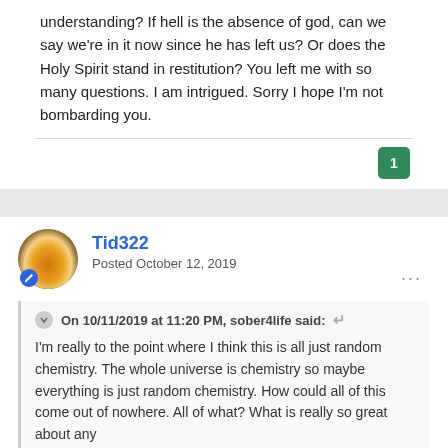understanding? If hell is the absence of god, can we say we're in it now since he has left us? Or does the Holy Spirit stand in restitution?  You left me with so many questions. I am intrigued. Sorry I hope I'm not bombarding you.
1
Tid322
Posted October 12, 2019
On 10/11/2019 at 11:20 PM, sober4life said:
I'm really to the point where I think this is all just random chemistry.  The whole universe is chemistry so maybe everything is just random chemistry.  How could all of this come out of nowhere.  All of what?  What is really so great about any